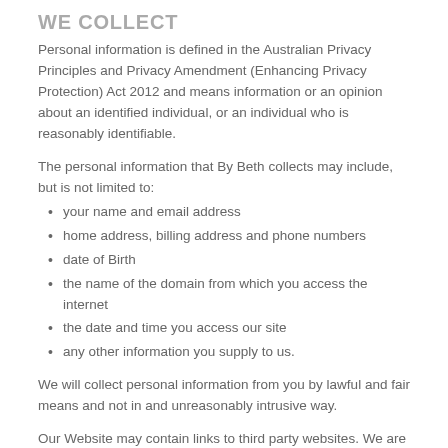WE COLLECT
Personal information is defined in the Australian Privacy Principles and Privacy Amendment (Enhancing Privacy Protection) Act 2012 and means information or an opinion about an identified individual, or an individual who is reasonably identifiable.
The personal information that By Beth collects may include, but is not limited to:
your name and email address
home address, billing address and phone numbers
date of Birth
the name of the domain from which you access the internet
the date and time you access our site
any other information you supply to us.
We will collect personal information from you by lawful and fair means and not in and unreasonably intrusive way.
Our Website may contain links to third party websites. We are not responsible for the privacy policies of any third party websites. We recommend that you review the privacy policy of each website you visit.
COLLECTION OF PERSONAL INFORMATION